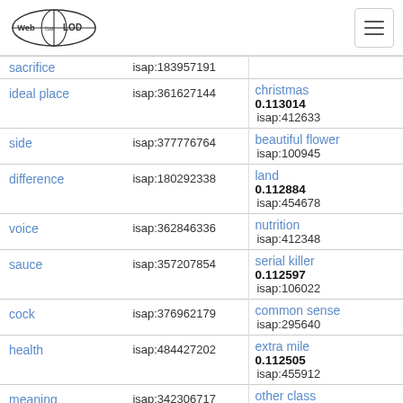Web isa LOD (logo) with hamburger menu
| Term | ISAP ID | Related Term | ISAP ID |
| --- | --- | --- | --- |
| sacrifice | isap:183957191 |  |  |
| ideal place | isap:361627144 | christmas
0.113014 | isap:412633 |
| side | isap:377776764 | beautiful flower | isap:100945 |
| difference | isap:180292338 | land
0.112884 | isap:454678 |
| voice | isap:362846336 | nutrition | isap:412348 |
| sauce | isap:357207854 | serial killer
0.112597 | isap:106022 |
| cock | isap:376962179 | common sense | isap:295640 |
| health | isap:484427202 | extra mile
0.112505 | isap:455912 |
| meaning | isap:342306717 | other class | isap:297826 |
| working | isap:344490387 | liam neeson
0.112181 | isap:101829 |
| lot | isap:348935571 | boat ride | isap:457520 |